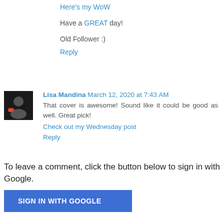Here's my WoW
Have a GREAT day!
Old Follower :)
Reply
Lisa Mandina  March 12, 2020 at 7:43 AM
That cover is awesome! Sound like it could be good as well. Great pick!
Check out my Wednesday post
Reply
To leave a comment, click the button below to sign in with Google.
SIGN IN WITH GOOGLE